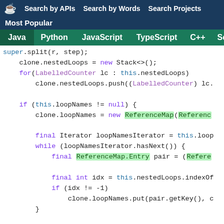☕ Search by APIs   Search by Words   Search Projects
Most Popular
Java  Python  JavaScript  TypeScript  C++  Scala
[Figure (screenshot): Java code snippet showing clone.nestedLoops, for loop over LabelledCounter, if block checking loopNames, ReferenceMap construction, Iterator, while loop, and nested put call.]